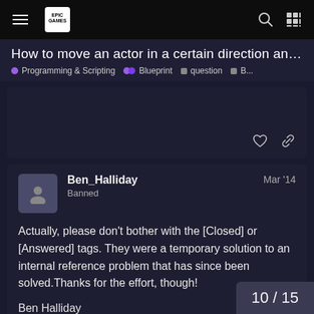Epic Games Forum Navigation
How to move an actor in a certain direction and vel...
Programming & Scripting  Blueprint  question  B...
Ben_Halliday  Banned  Mar '14
Actually, please don't bother with the [Closed] or [Answered] tags. They were a temporary solution to an internal reference problem that has since been solved.Thanks for the effort, though!

Ben Halliday
10 / 15